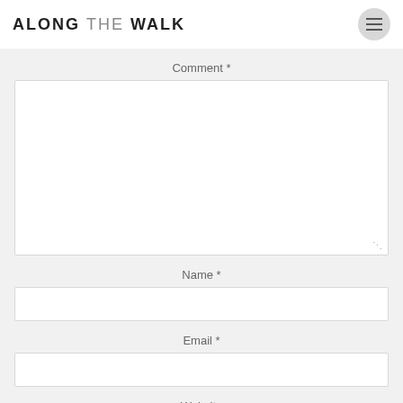ALONG THE WALK
Comment *
Name *
Email *
Website